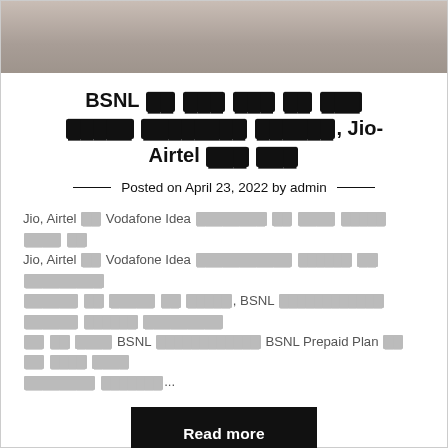[Figure (photo): Photo of a woman holding a phone, cropped at top]
BSNL [redacted text] Jio-Airtel [redacted text]
Posted on April 23, 2022 by admin
Jio, Airtel और Vodafone Idea [redacted] के बाद [redacted] करने पर Jio, Airtel और Vodafone Idea [redacted] करने के [redacted] होने के बाद, BSNL [redacted] करने [redacted] के रूप BSNL [redacted] BSNL Prepaid Plan के बारे में [redacted]...
Read more